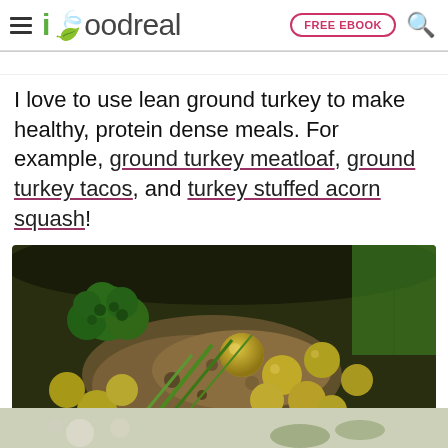ifoodreal | FREE EBOOK
I love to use lean ground turkey to make healthy, protein dense meals. For example, ground turkey meatloaf, ground turkey tacos, and turkey stuffed acorn squash!
[Figure (photo): A dark cast iron skillet or bowl containing a stir-fry or sauté dish with ground turkey, broccoli, green onions, and small round golden/yellow vegetables (possibly tomatillos or Brussels sprouts), photographed from above at an angle against a green leafy background.]